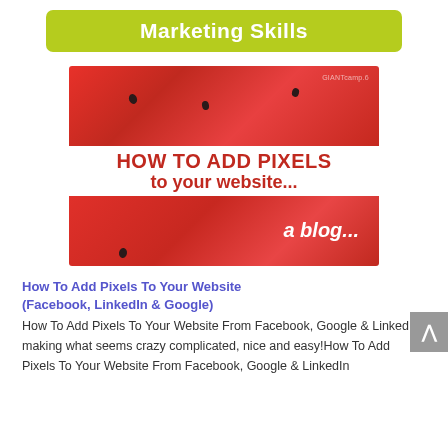Marketing Skills
[Figure (illustration): Watermelon texture image with overlaid text: HOW TO ADD PIXELS to your website... a blog...]
How To Add Pixels To Your Website (Facebook, LinkedIn & Google)
How To Add Pixels To Your Website From Facebook, Google & LinkedIn making what seems crazy complicated, nice and easy!How To Add Pixels To Your Website From Facebook, Google & LinkedIn